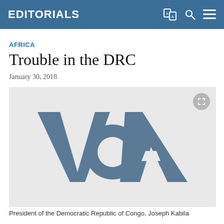EDITORIALS
AFRICA
Trouble in the DRC
January 30, 2018
[Figure (logo): VOA (Voice of America) logo placeholder image on light gray background]
President of the Democratic Republic of Congo, Joseph Kabila